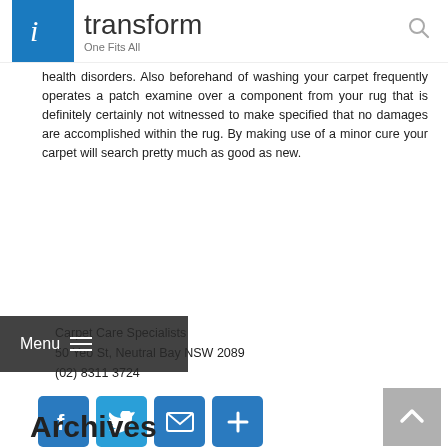i transform — One Fits All
health disorders. Also beforehand of washing your carpet frequently operates a patch examine over a component from your rug that is definitely certainly not witnessed to make specified that no damages are accomplished within the rug. By making use of a minor cure your carpet will search pretty much as good as new.
Carpet Care Specialists
50 Yeo St, Neutral Bay NSW 2089
(02) 8311 3724
[Figure (other): Social share buttons: Facebook, Twitter, Email, and More (plus icon)]
Leave a comment
Archives